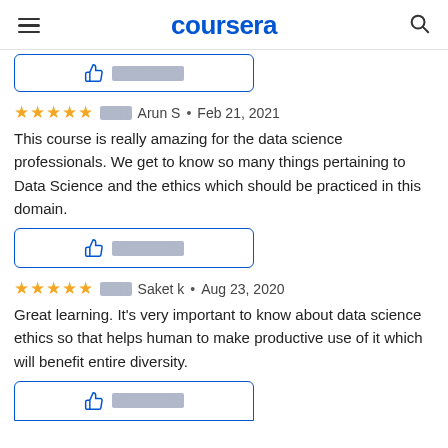coursera
[Figure (screenshot): Partial helpful button with thumbs up icon and redacted text, cut off at top]
⭐⭐⭐⭐⭐ ■■■ Arun S • Feb 21, 2021
This course is really amazing for the data science professionals. We get to know so many things pertaining to Data Science and the ethics which should be practiced in this domain.
[Figure (screenshot): Helpful button with thumbs up icon and redacted text]
⭐⭐⭐⭐⭐ ■■■ Saket k • Aug 23, 2020
Great learning. It's very important to know about data science ethics so that helps human to make productive use of it which will benefit entire diversity.
[Figure (screenshot): Partial helpful button with thumbs up icon and redacted text, cut off at bottom]